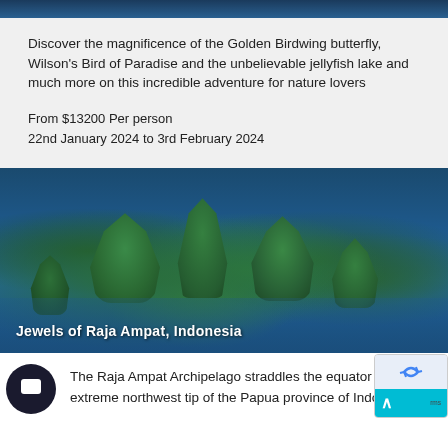[Figure (photo): Top strip showing blue ocean/sky]
Discover the magnificence of the Golden Birdwing butterfly, Wilson's Bird of Paradise and the unbelievable jellyfish lake and much more on this incredible adventure for nature lovers
From $13200 Per person
22nd January 2024 to 3rd February 2024
[Figure (photo): Aerial photo of green limestone karst islands surrounded by blue water in Raja Ampat, Indonesia with caption overlay 'Jewels of Raja Ampat, Indonesia']
Jewels of Raja Ampat, Indonesia
The Raja Ampat Archipelago straddles the equator at the extreme northwest tip of the Papua province of Indonesia